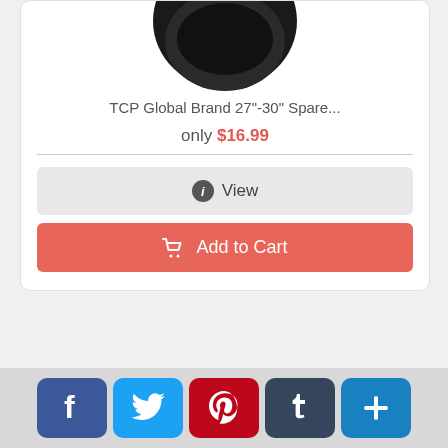[Figure (photo): Black helmet product image, partially cropped at top]
TCP Global Brand 27"-30" Spare...
only $16.99
View
Add to Cart
[Figure (photo): Silver scooter cover product image for Vespa LX50-150]
Scooter Cover, Vespa LX50-150,
[Figure (infographic): Social share bar with Facebook, Twitter, Pinterest, Tumblr, and More buttons]